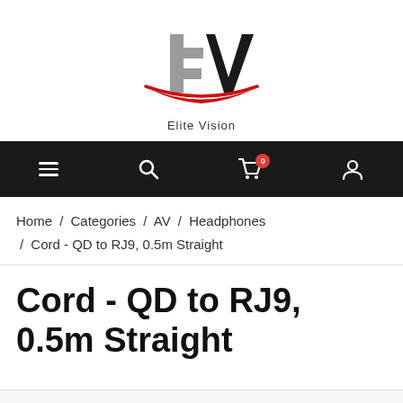[Figure (logo): Elite Vision logo with stylized 'EV' letters in gray and black, red swoosh underneath, and 'Elite Vision' text below]
[Figure (screenshot): Black navigation bar with hamburger menu, search icon, shopping cart with badge '0', and user account icon]
Home / Categories / AV / Headphones / Cord - QD to RJ9, 0.5m Straight
Cord - QD to RJ9, 0.5m Straight